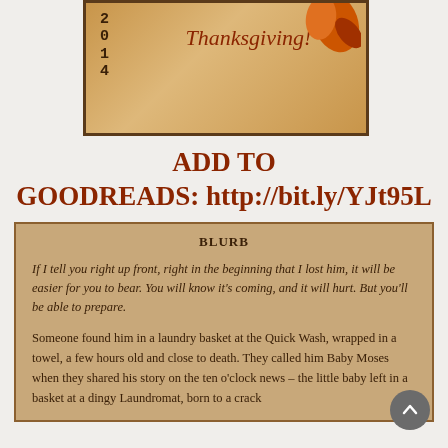[Figure (illustration): Thanksgiving-themed decorative image with '2014' text on left side, 'Thanksgiving!' in italic script, and orange/brown autumn leaf decoration. Warm golden-brown background with dark border.]
ADD TO GOODREADS: http://bit.ly/YJt95L
BLURB
If I tell you right up front, right in the beginning that I lost him, it will be easier for you to bear. You will know it's coming, and it will hurt. But you'll be able to prepare.
Someone found him in a laundry basket at the Quick Wash, wrapped in a towel, a few hours old and close to death. They called him Baby Moses when they shared his story on the ten o'clock news – the little baby left in a basket at a dingy Laundromat, born to a crack